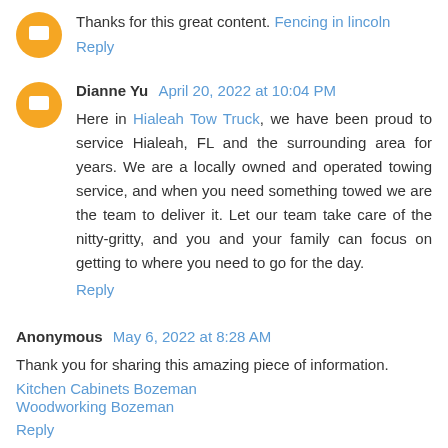Thanks for this great content. Fencing in lincoln
Reply
Dianne Yu  April 20, 2022 at 10:04 PM
Here in Hialeah Tow Truck, we have been proud to service Hialeah, FL and the surrounding area for years. We are a locally owned and operated towing service, and when you need something towed we are the team to deliver it. Let our team take care of the nitty-gritty, and you and your family can focus on getting to where you need to go for the day.
Reply
Anonymous  May 6, 2022 at 8:28 AM
Thank you for sharing this amazing piece of information. Kitchen Cabinets Bozeman Woodworking Bozeman
Reply